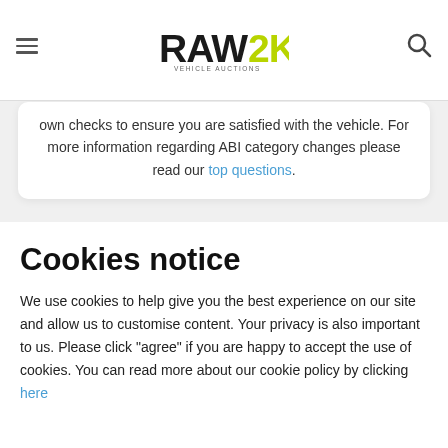RAW2K VEHICLE AUCTIONS
own checks to ensure you are satisfied with the vehicle. For more information regarding ABI category changes please read our top questions.
Closing Bid:
£310
Cookies notice
We use cookies to help give you the best experience on our site and allow us to customise content. Your privacy is also important to us. Please click "agree" if you are happy to accept the use of cookies. You can read more about our cookie policy by clicking here